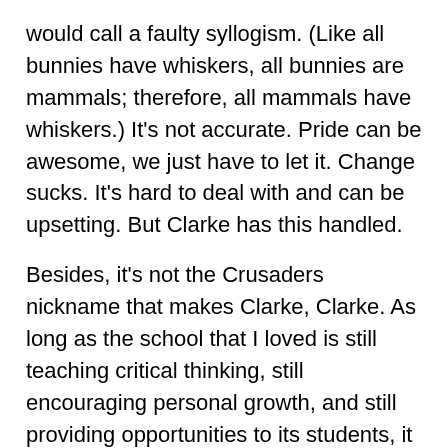would call a faulty syllogism. (Like all bunnies have whiskers, all bunnies are mammals; therefore, all mammals have whiskers.) It's not accurate. Pride can be awesome, we just have to let it. Change sucks. It's hard to deal with and can be upsetting. But Clarke has this handled.
Besides, it's not the Crusaders nickname that makes Clarke, Clarke. As long as the school that I loved is still teaching critical thinking, still encouraging personal growth, and still providing opportunities to its students, it will continue to have my support.
As for ‘Pride’? Warn the bookstore. I’ll want a t-shirt in the fall.
Kylee D. Miller, Clarke Class of 2012, is a former four-year Clarke volleyball player. She is currently a practicing attorney in Rockford, Illinois.